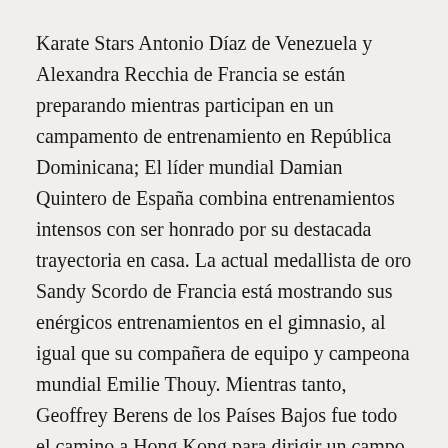Karate Stars Antonio Díaz de Venezuela y Alexandra Recchia de Francia se están preparando mientras participan en un campamento de entrenamiento en República Dominicana; El líder mundial Damian Quintero de España combina entrenamientos intensos con ser honrado por su destacada trayectoria en casa. La actual medallista de oro Sandy Scordo de Francia está mostrando sus enérgicos entrenamientos en el gimnasio, al igual que su compañera de equipo y campeona mundial Emilie Thouy. Mientras tanto, Geoffrey Berens de los Países Bajos fue todo el camino a Hong Kong para dirigir un campo de entrenamiento; También fuera de casa, Sakura Kokumai de los EE.UU. preparó el evento con una etapa en Japón.
Después de participar como instructor en el